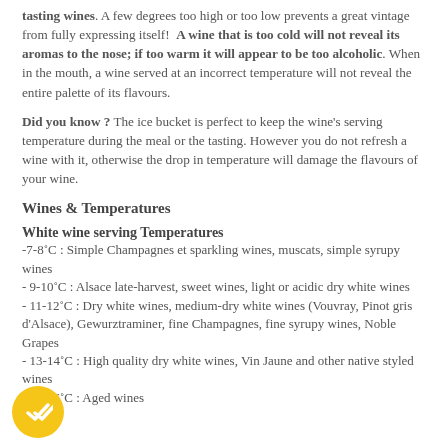tasting wines. A few degrees too high or too low prevents a great vintage from fully expressing itself! A wine that is too cold will not reveal its aromas to the nose; if too warm it will appear to be too alcoholic. When in the mouth, a wine served at an incorrect temperature will not reveal the entire palette of its flavours.
Did you know ? The ice bucket is perfect to keep the wine's serving temperature during the meal or the tasting. However you do not refresh a wine with it, otherwise the drop in temperature will damage the flavours of your wine.
Wines & Temperatures
White wine serving Temperatures
-7-8˚C : Simple Champagnes et sparkling wines, muscats, simple syrupy wines
- 9-10˚C : Alsace late-harvest, sweet wines, light or acidic dry white wines
- 11-12˚C : Dry white wines, medium-dry white wines (Vouvray, Pinot gris d'Alsace), Gewurztraminer, fine Champagnes, fine syrupy wines, Noble Grapes
- 13-14˚C : High quality dry white wines, Vin Jaune and other native styled wines
- 15-16˚C : Aged wines